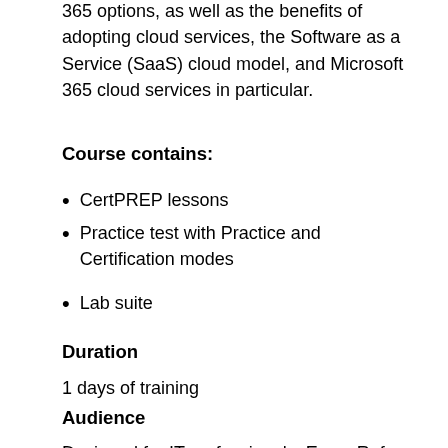365 options, as well as the benefits of adopting cloud services, the Software as a Service (SaaS) cloud model, and Microsoft 365 cloud services in particular.
Course contains:
CertPREP lessons
Practice test with Practice and Certification modes
Lab suite
Duration
1 days of training
Audience
Designed for IT professionals, Exam Ref focuses on critical thinking and decision-making acumen